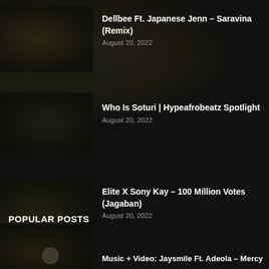Dellbee Ft. Japanese Jenn – Saravina (Remix)
August 20, 2022
Who Is Soturi | Hypeafrobeatz Spotlight
August 20, 2022
Elite X Sony Kay – 100 Million Votes (Jagaban)
August 20, 2022
POPULAR POSTS
Music + Video: Jaysmile Ft. Adeola – Mercy